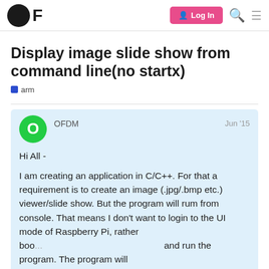OF | Log In
Display image slide show from command line(no startx)
arm
OFDM   Jun '15
Hi All -
I am creating an application in C/C++. For that a requirement is to create an image (.jpg/.bmp etc.) viewer/slide show. But the program will rum from console. That means I don't want to login to the UI mode of Raspberry Pi, rather boo... and run the program. The program will pic... some designated folder and display slides...
1 / 7